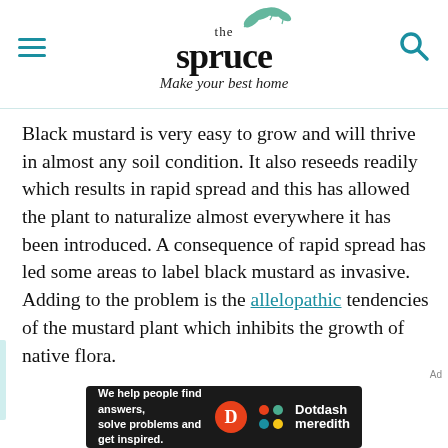the spruce — Make your best home
Black mustard is very easy to grow and will thrive in almost any soil condition. It also reseeds readily which results in rapid spread and this has allowed the plant to naturalize almost everywhere it has been introduced. A consequence of rapid spread has led some areas to label black mustard as invasive. Adding to the problem is the allelopathic tendencies of the mustard plant which inhibits the growth of native flora.
[Figure (infographic): Dotdash Meredith advertisement banner: 'We help people find answers, solve problems and get inspired.' with Dotdash Meredith logo]